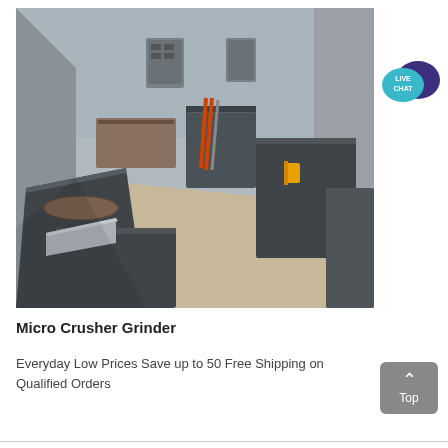[Figure (photo): Interior of an industrial facility showing multiple large metal grinder/crusher bins or tanks arranged in rows on a concrete floor, with electrical panels and tools visible in the background.]
Micro Crusher Grinder
Everyday Low Prices Save up to 50 Free Shipping on Qualified Orders